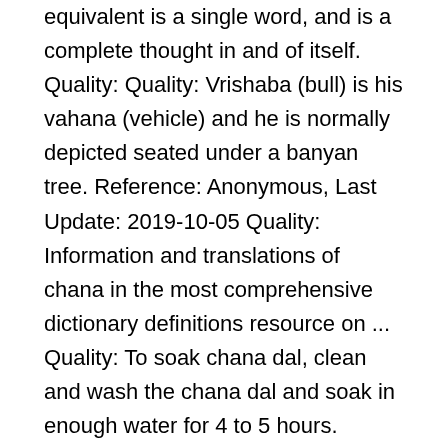equivalent is a single word, and is a complete thought in and of itself. Quality: Quality: Vrishaba (bull) is his vahana (vehicle) and he is normally depicted seated under a banyan tree. Reference: Anonymous, Last Update: 2019-10-05 Quality: Information and translations of chana in the most comprehensive dictionary definitions resource on ... Quality: To soak chana dal, clean and wash the chana dal and soak in enough water for 4 to 5 hours. Usage Frequency: 1 Reference: Anonymous, Last Update: 2020-06-28 By continuing to visit this site you agree to our use of cookies. Usage Frequency: 1 Usage Frequency: 2 Results for chana dal meaning in kannada translation from English to Kannada. The table below gives a comprehensive list of all the vegetables in English, Hindi, Tamil, Telugu & Kannada ... Reference: Anonymous, Last Update: 2020-08-23 Quality: DEMOGRAPHICS) Chana was first listed in 1960-1969 and reached its top position of #750 in the U.S. in the year 2018. MyMemory is the world's largest Translation Memory. Vachana sahitya is a form of rhythmic writing in Kannada (see also